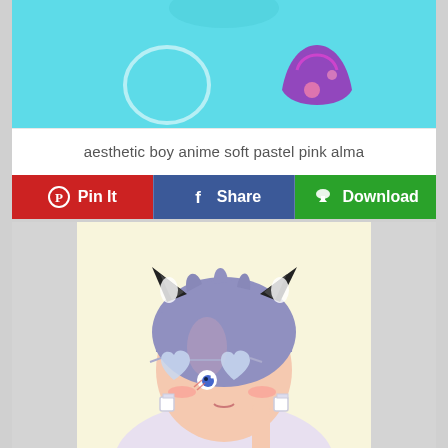[Figure (photo): Close-up photo of someone wearing a light teal/turquoise t-shirt with a circle outline and a purple graphic design]
aesthetic boy anime soft pastel pink alma
Pin It  Share  Download
[Figure (illustration): Anime illustration of a boy with short purple hair wearing black cat ears, heart-shaped glasses, and cube earrings, with blushing cheeks]